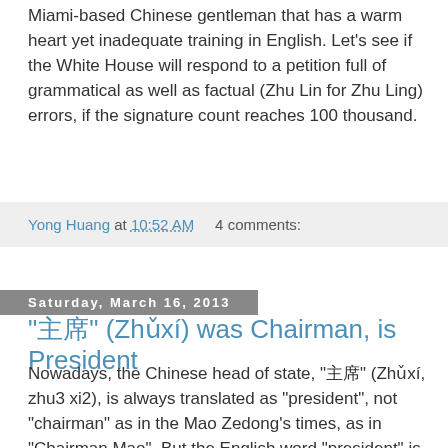Miami-based Chinese gentleman that has a warm heart yet inadequate training in English. Let's see if the White House will respond to a petition full of grammatical as well as factual (Zhu Lin for Zhu Ling) errors, if the signature count reaches 100 thousand.
Yong Huang at 10:52 AM    4 comments:
Saturday, March 16, 2013
"主席" (Zhǔxí) was Chairman, is President
Nowadays, the Chinese head of state, "主席" (Zhǔxí, zhu3 xi2), is always translated as "president", not "chairman" as in the Mao Zedong's times, as in "Chairman Mao". But the English word "president" is almost always translated into Chinese as a different word "总统", which goes back into English definitely as "president", and never "chairman".
I'm curious about the time of the change from "chairman" to "president" as the English translation for "主席". According to Wikipedia, "The office [of President of the People's Republic...